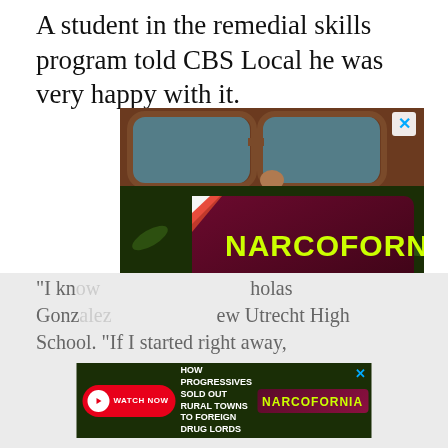A student in the remedial skills program told CBS Local he was very happy with it.
[Figure (photo): Advertisement for 'Narcofornia' — a documentary about how progressives sold out rural towns to foreign drug lords. Shows a person wearing sunglasses and a cannabis-leaf patterned mask. Large maroon card with yellow 'NARCOFORNIA' text. White subtitle text reads 'HOW PROGRESSIVES SOLD OUT RURAL TOWNS TO FOREIGN DRUG LORDS'. Red 'WATCH NOW' button. Blue X close button in top-right.]
“I kn… holas Gonz… ew Utrecht High School. “If I started right away,